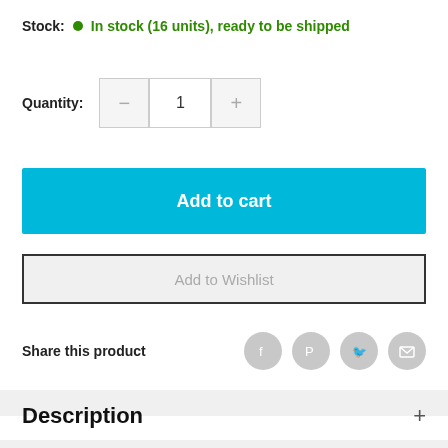Stock: ● In stock (16 units), ready to be shipped
Quantity: − 1 +
Add to cart
Add to Wishlist
Share this product
Description